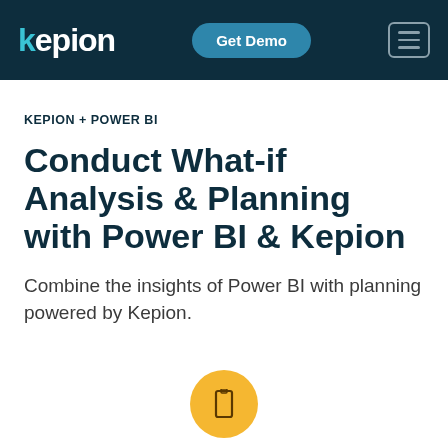kepion | Get Demo | [hamburger menu]
KEPION + POWER BI
Conduct What-if Analysis & Planning with Power BI & Kepion
Combine the insights of Power BI with planning powered by Kepion.
[Figure (illustration): Yellow circular button with a play/video icon (rectangular camera icon) in the center]